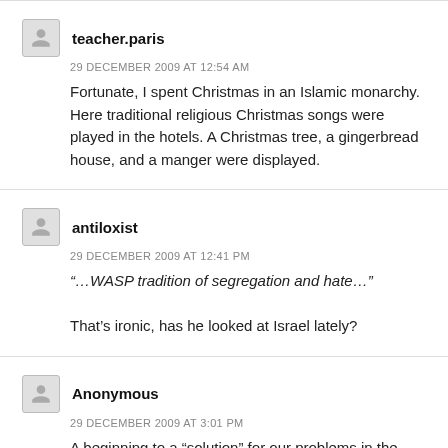teacher.paris
29 DECEMBER 2009 AT 12:54 AM
Fortunate, I spent Christmas in an Islamic monarchy. Here traditional religious Christmas songs were played in the hotels. A Christmas tree, a gingerbread house, and a manger were displayed.
antiloxist
29 DECEMBER 2009 AT 12:41 PM
“…WASP tradition of segregation and hate…”

That’s ironic, has he looked at Israel lately?
Anonymous
29 DECEMBER 2009 AT 3:01 PM
A beginning to a “solution” for our problems in the REAL